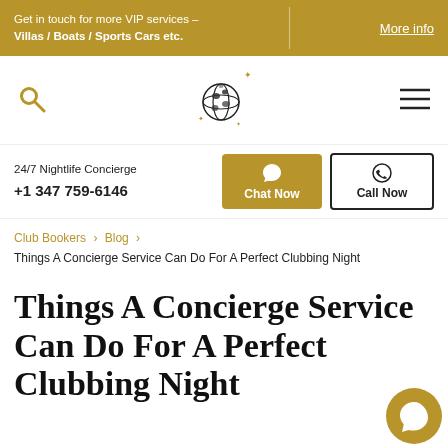Get in touch for more VIP services – Villas / Boats / Sports Cars etc. | More info
[Figure (logo): Globe/disco ball logo with sparkles, navigation search icon and hamburger menu]
24/7 Nightlife Concierge +1 347 759-6146 | Chat Now | Call Now
Club Bookers > Blog > Things A Concierge Service Can Do For A Perfect Clubbing Night
Things A Concierge Service Can Do For A Perfect Clubbing Night